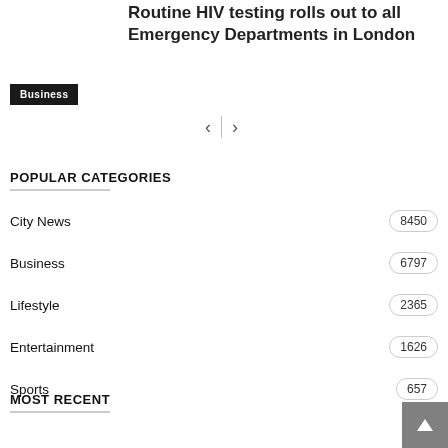Routine HIV testing rolls out to all Emergency Departments in London
Business
POPULAR CATEGORIES
City News 8450
Business 6797
Lifestyle 2365
Entertainment 1626
Sports 657
MOST RECENT